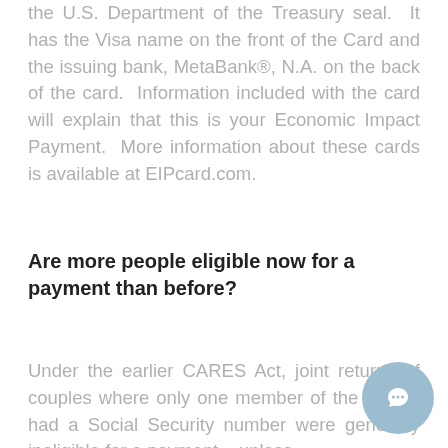the U.S. Department of the Treasury seal. It has the Visa name on the front of the Card and the issuing bank, MetaBank®, N.A. on the back of the card. Information included with the card will explain that this is your Economic Impact Payment. More information about these cards is available at EIPcard.com.
Are more people eligible now for a payment than before?
Under the earlier CARES Act, joint returns of couples where only one member of the couple had a Social Security number were generally ineligible for a payment – unless